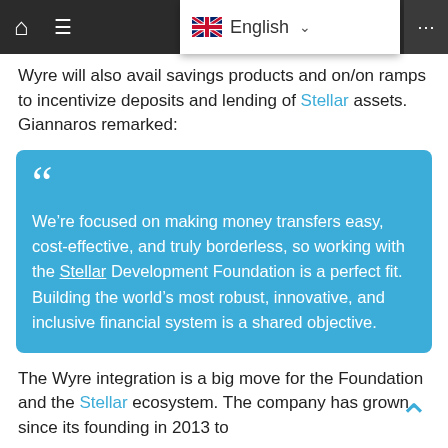Navigation bar with home icon, hamburger menu, English language selector with UK flag, and share icon
Wyre will also avail savings products and on/on ramps to incentivize deposits and lending of Stellar assets. Giannaros remarked:
We’re focused on making money transfers easy, cost-effective, and truly borderless, so working with the Stellar Development Foundation is a perfect fit. Building the world’s most robust, innovative, and inclusive financial system is a shared objective.
The Wyre integration is a big move for the Foundation and the Stellar ecosystem. The company has grown since its founding in 2013 to